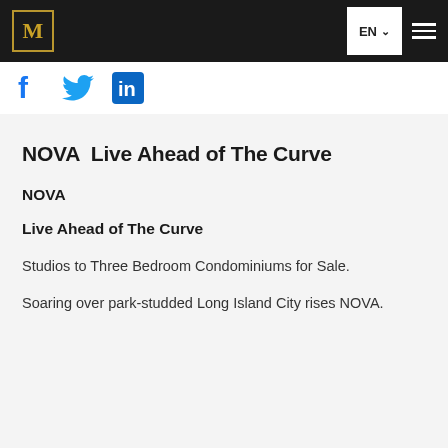M | EN ☰
[Figure (illustration): Social media icons: Facebook (blue f), Twitter (blue bird), LinkedIn (blue in)]
NOVA  Live Ahead of The Curve
NOVA
Live Ahead of The Curve
Studios to Three Bedroom Condominiums for Sale.
Soaring over park-studded Long Island City rises NOVA.